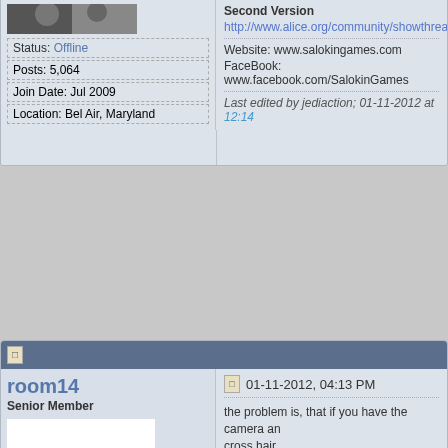Status: Offline
Posts: 5,064
Join Date: Jul 2009
Location: Bel Air, Maryland
Second Version
http://www.alice.org/community/showthread.p
Website: www.salokingames.com
FaceBook: www.facebook.com/SalokinGames
Last edited by jediaction; 01-11-2012 at 12:14
room14
Senior Member
[Figure (photo): Kiwi bird standing on white background]
Status: Offline
Posts: 549
Join Date: Nov 2009
Location: Auckland New Zealand
01-11-2012, 04:13 PM
the problem is, that if you have the camera and cross hair.
:D